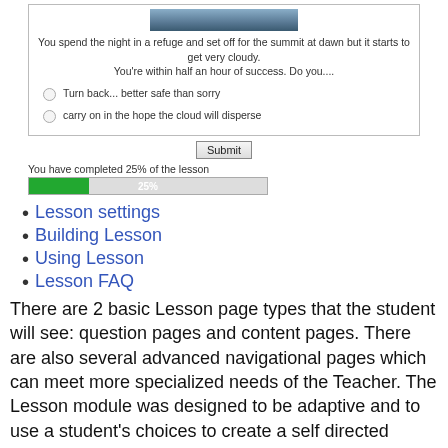[Figure (screenshot): A quiz interface showing a mountain scene image at top, a prompt about spending the night in a refuge and setting off for the summit at dawn with cloudy weather, and two radio button options: 'Turn back... better safe than sorry' and 'carry on in the hope the cloud will disperse'.]
Submit
You have completed 25% of the lesson
Lesson settings
Building Lesson
Using Lesson
Lesson FAQ
There are 2 basic Lesson page types that the student will see: question pages and content pages. There are also several advanced navigational pages which can meet more specialized needs of the Teacher. The Lesson module was designed to be adaptive and to use a student's choices to create a self directed lesson.